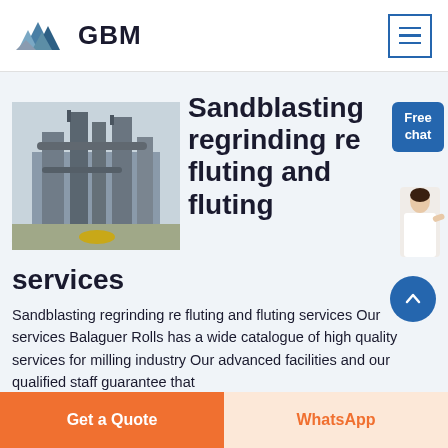[Figure (logo): GBM logo with mountain/triangle icon in blue and grey, and bold text GBM]
[Figure (photo): Industrial facility with large metal pipes, silos, and processing equipment in a warehouse setting]
Sandblasting regrinding re fluting and fluting services
[Figure (photo): Person in white shirt gesturing with hand, upper body visible]
Sandblasting regrinding re fluting and fluting services Our services Balaguer Rolls has a wide catalogue of high quality services for milling industry Our advanced facilities and our qualified staff guarantee that
Get a Quote | WhatsApp